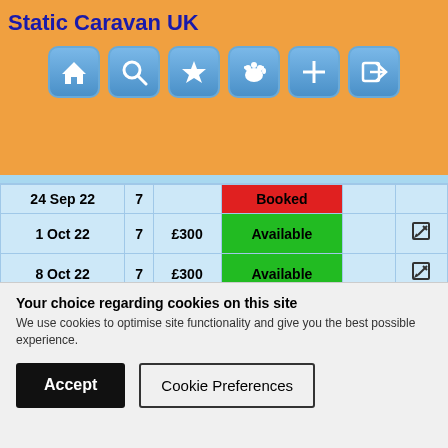Static Caravan UK
[Figure (other): Navigation bar with home, search, star, dog, plus, and login icons]
| Date | Nights | Price | Status |  |  |
| --- | --- | --- | --- | --- | --- |
| 24 Sep 22 | 7 |  | Booked |  |  |
| 1 Oct 22 | 7 | £300 | Available |  | ✎ |
| 8 Oct 22 | 7 | £300 | Available |  | ✎ |
| 15 Oct 22 | 7 |  | Reserved |  |  |
| 22 Oct 22 | 7 |  | Booked |  |  |
| 8 Apr 23 | 7 | £320 | Available | i | ✎ |
Your choice regarding cookies on this site
We use cookies to optimise site functionality and give you the best possible experience.